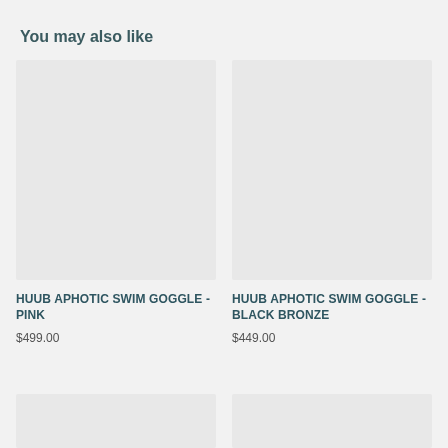You may also like
[Figure (photo): Product image placeholder for HUUB Aphotic Swim Goggle - Pink]
HUUB APHOTIC SWIM GOGGLE - PINK
$499.00
[Figure (photo): Product image placeholder for HUUB Aphotic Swim Goggle - Black Bronze]
HUUB APHOTIC SWIM GOGGLE - BLACK BRONZE
$449.00
[Figure (photo): Partial product image placeholder bottom left]
[Figure (photo): Partial product image placeholder bottom right]